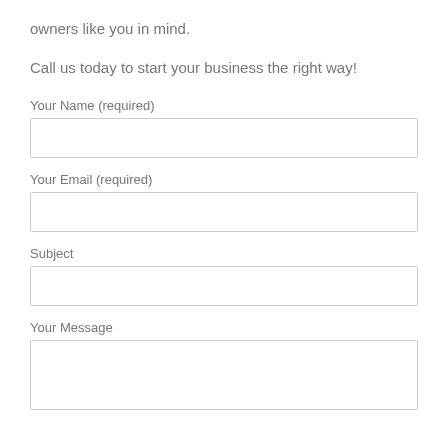owners like you in mind.
Call us today to start your business the right way!
Your Name (required)
Your Email (required)
Subject
Your Message